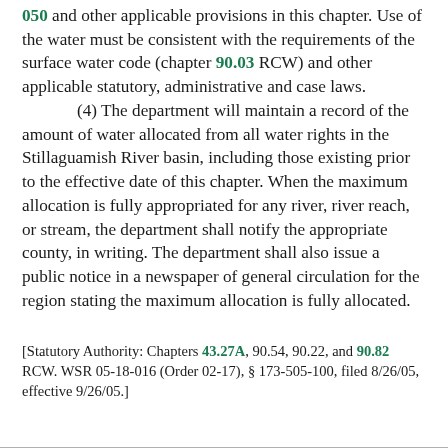050 and other applicable provisions in this chapter. Use of the water must be consistent with the requirements of the surface water code (chapter 90.03 RCW) and other applicable statutory, administrative and case laws.
(4) The department will maintain a record of the amount of water allocated from all water rights in the Stillaguamish River basin, including those existing prior to the effective date of this chapter. When the maximum allocation is fully appropriated for any river, river reach, or stream, the department shall notify the appropriate county, in writing. The department shall also issue a public notice in a newspaper of general circulation for the region stating the maximum allocation is fully allocated.
[Statutory Authority: Chapters 43.27A, 90.54, 90.22, and 90.82 RCW. WSR 05-18-016 (Order 02-17), § 173-505-100, filed 8/26/05, effective 9/26/05.]